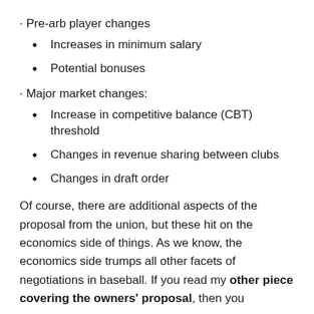· Pre-arb player changes
Increases in minimum salary
Potential bonuses
· Major market changes:
Increase in competitive balance (CBT) threshold
Changes in revenue sharing between clubs
Changes in draft order
Of course, there are additional aspects of the proposal from the union, but these hit on the economics side of things. As we know, the economics side trumps all other facets of negotiations in baseball. If you read my other piece covering the owners' proposal, then you